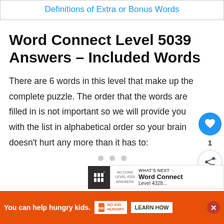Definitions of Extra or Bonus Words
Word Connect Level 5039 Answers – Included Words
There are 6 words in this level that make up the complete puzzle. The order that the words are filled in is not important so we will provide you with the list in alphabetical order so your brain doesn't hurt any more than it has to:
[Figure (infographic): Three dots navigation indicator (pagination dots)]
[Figure (infographic): Floating action buttons: heart (like) button in blue, count of 1, and share button]
[Figure (screenshot): What's Next bar showing: AD CONS LEVEL 4328 ANSWERS / WHAT'S NEXT → Word Connect]
[Figure (infographic): Ad banner: orange background, 'You can help hungry kids.' with No Kid Hungry logo and LEARN HOW button, plus close X button]